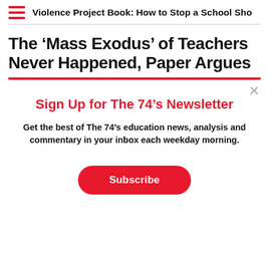Violence Project Book: How to Stop a School Sho
The ‘Mass Exodus’ of Teachers Never Happened, Paper Argues
Sign Up for The 74’s Newsletter
Get the best of The 74’s education news, analysis and commentary in your inbox each weekday morning.
Subscribe